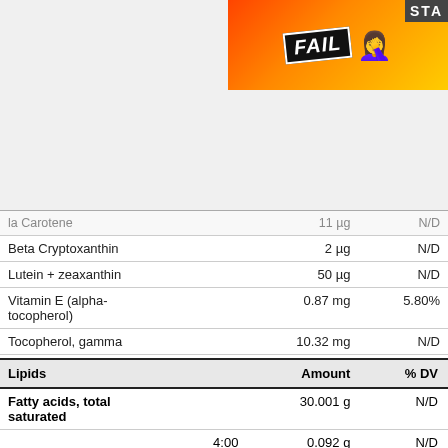[Figure (illustration): Top-right banner with cartoon FAIL illustration showing animated character with flames background and 'STA' text cutoff]
|  | Amount | % DV |
| --- | --- | --- |
| la Carotene | 11 µg | N/D |
| Beta Cryptoxanthin | 2 µg | N/D |
| Lutein + zeaxanthin | 50 µg | N/D |
| Vitamin E (alpha-tocopherol) | 0.87 mg | 5.80% |
| Tocopherol, gamma | 10.32 mg | N/D |
| Tocopherol, delta | 0.55 mg | N/D |
| Tocotrienol, gamma | 0.13 mg | N/D |
| Vitamin K (phylloquinone) | 13.1 µg | 10.92% |
| Lipids | Amount | % DV |
| --- | --- | --- |
| Fatty acids, total saturated | 30.001 g | N/D |
| 4:00 | 0.092 g | N/D |
| Caproic acid 6:00 (hexanoic acid) | 0.071 g | N/D |